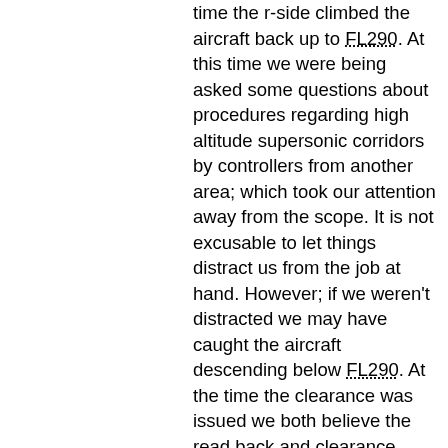time the r-side climbed the aircraft back up to FL290. At this time we were being asked some questions about procedures regarding high altitude supersonic corridors by controllers from another area; which took our attention away from the scope. It is not excusable to let things distract us from the job at hand. However; if we weren't distracted we may have caught the aircraft descending below FL290. At the time the clearance was issued we both believe the read back and clearance were for FL290. We still should have caught the descent below FL290. Recommendation; we as controllers; should know not to ask questions to controllers at a working sector. More importantly as a controller working a sector we should not allow ourselves to be distract from our scope and the traffic we are responsible for. We